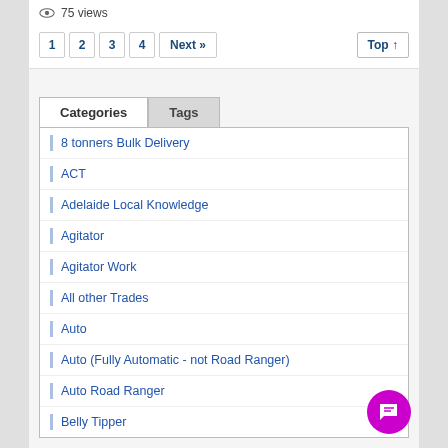75 views
1  2  3  4  Next »  Top ↑
Categories | Tags
8 tonners Bulk Delivery
ACT
Adelaide Local Knowledge
Agitator
Agitator Work
All other Trades
Auto
Auto (Fully Automatic - not Road Ranger)
Auto Road Ranger
Belly Tipper